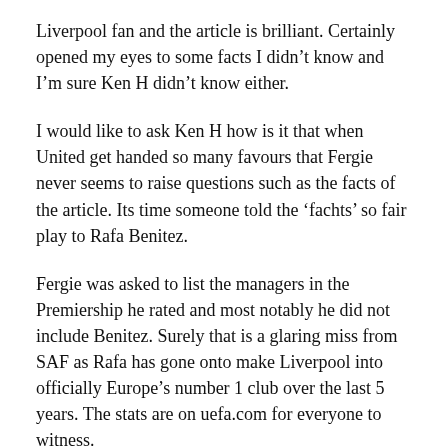Liverpool fan and the article is brilliant. Certainly opened my eyes to some facts I didn't know and I'm sure Ken H didn't know either.
I would like to ask Ken H how is it that when United get handed so many favours that Fergie never seems to raise questions such as the facts of the article. Its time someone told the 'fachts' so fair play to Rafa Benitez.
Fergie was asked to list the managers in the Premiership he rated and most notably he did not include Benitez. Surely that is a glaring miss from SAF as Rafa has gone onto make Liverpool into officially Europe's number 1 club over the last 5 years. The stats are on uefa.com for everyone to witness.
Rafa has seriously rattled Fergie and the problem